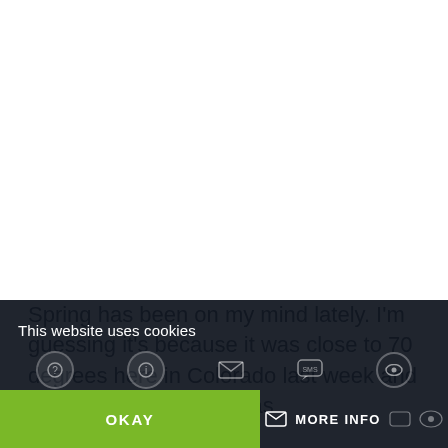Spring has been on my mind lately. I'm guessing it's because it was close to 70 degrees here in Colorado last week and that glorious weather has
This website uses cookies
OKAY
MORE INFO